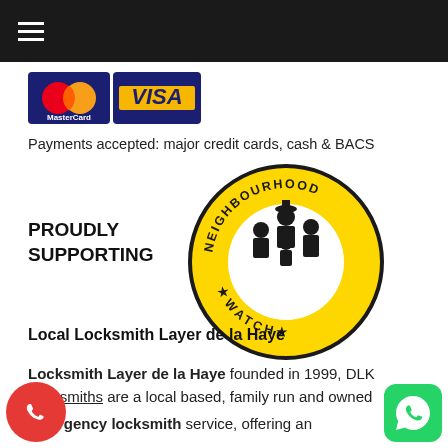[Figure (logo): Payment logos: MasterCard and VISA]
Payments accepted: major credit cards, cash & BACS
[Figure (logo): Neighbourhood Watch circular logo in yellow and black with text 'NEIGHBOURHOOD WATCH' and illustration of family group]
PROUDLY SUPPORTING
Local Locksmith Layer de la Haye
Locksmith Layer de la Haye founded in 1999, DLK Locksmiths are a local based, family run and owned emergency locksmith service, offering an